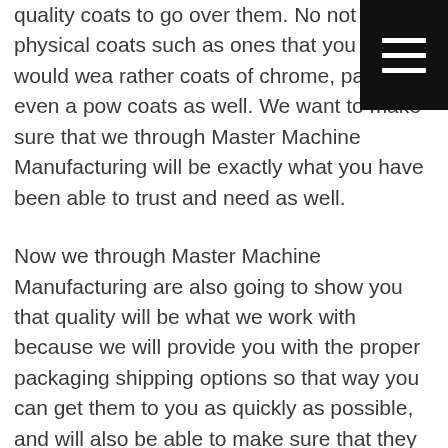quality coats to go over them. No not physical coats such as ones that you and I would wear rather coats of chrome, paint or even a powder coats as well. We want to make sure that we through Master Machine Manufacturing will be exactly what you have been able to trust and need as well.
[Figure (other): Hamburger menu icon — three white horizontal bars on a black square background, positioned in the top-right corner of the page.]
Now we through Master Machine Manufacturing are also going to show you that quality will be what we work with because we will provide you with the proper packaging shipping options so that way you can get them to you as quickly as possible, and will also be able to make sure that they will not be damaged as they are going be traveling. We will make sure that these results are going to be what you have trusted as well.